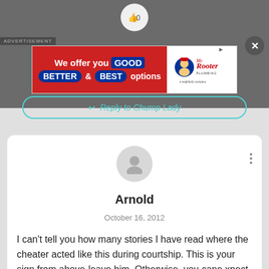[Figure (screenshot): Advertisement banner: 'We offer you GOOD BETTER & BEST options' with Mr. Rooter Plumbing logo]
Reply to Chump Lady
Arnold
October 16, 2012
I can't tell you how many stories I have read where the cheater acted like this during courtship. This is your sign from above-leave him. Otherwise, you cane xpect this type of thing to happen again and again. Except , maybe,